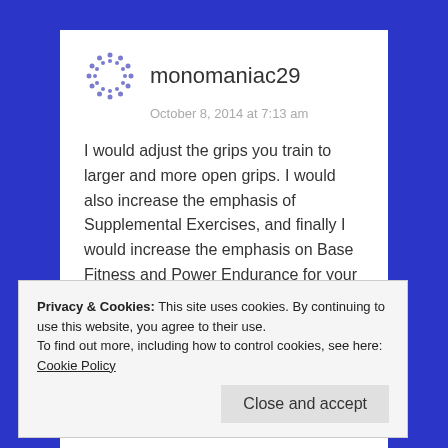monomaniac29
October 8, 2014 at 7:13 am
I would adjust the grips you train to larger and more open grips. I would also increase the emphasis of Supplemental Exercises, and finally I would increase the emphasis on Base Fitness and Power Endurance for your forearms (as opposed to Strength and Power).
★ Like
Reply
Privacy & Cookies: This site uses cookies. By continuing to use this website, you agree to their use.
To find out more, including how to control cookies, see here: Cookie Policy
Close and accept